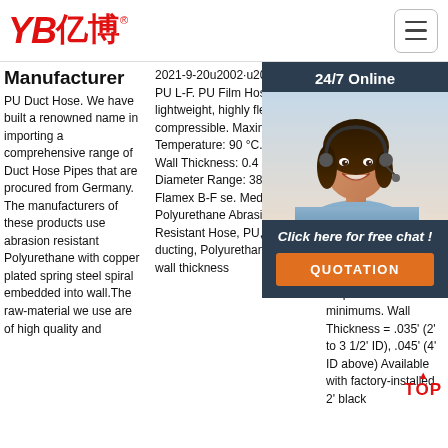[Figure (logo): YB亿博 logo in red italic text with registered trademark symbol]
[Figure (other): Hamburger menu icon in a rounded rectangle border]
Manufacturer
PU Duct Hose. We have built a renowned name in importing a comprehensive range of Duct Hose Pipes that are procured from Germany. The manufacturers of these products use abrasion resistant Polyurethane with copper plated spring steel spiral embedded into wall.The raw-material we use are of high quality and
2021-9-20u2002·u2002Master PU L-F. PU Film Hose, ultra-lightweight, highly flexible and compressible. Maximum Temperature: 90 °C. Minimum Wall Thickness: 0.4 mm. Diameter Range: 38-406 mm. Flamex B-F se. Medium duty Polyurethane Abrasion Resistant Hose, PU, flexible ducting, Polyurethane, PU wall thickness
Manufacturer
deals service app good tem flex man FDA mat in m con on p minimums. Wall Thickness = .035' (2' to 3 1/2' ID), .045' (4' ID above) Available with factory-installed 2' black
[Figure (photo): Customer service representative woman with headset smiling, overlaid on dark blue panel with '24/7 Online' text, 'Click here for free chat!' text, and orange QUOTATION button]